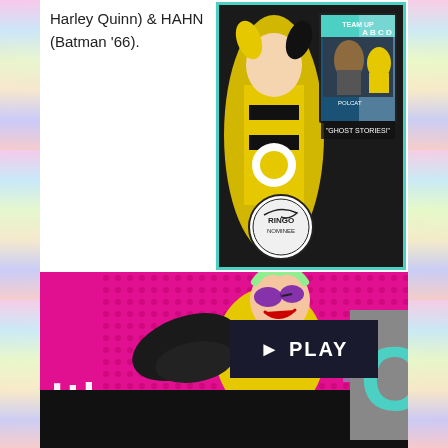Harley Quinn) & HAHN (Batman '66).
[Figure (illustration): Comic book cover showing characters in costume with text 'TEAM UP', 'A B C D', 'POLCAT', 'GHOST STORIES!' and a Ringo nominee stamp]
[Figure (illustration): Colorful comic-style illustration of a female character in yellow and black costume with large black gloves, goggles, on a magenta halftone background with 'IMPOSSIBLE' text and a PLAY button overlay]
[Figure (screenshot): Dark black video player bar at bottom]